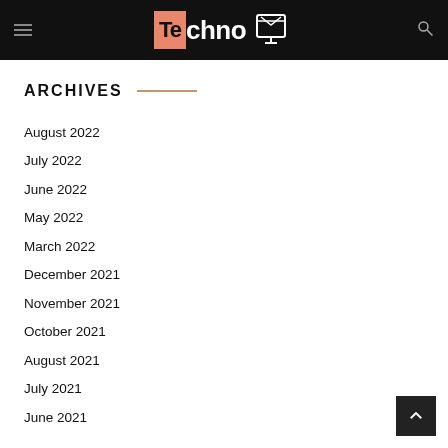Techno TV
ARCHIVES
August 2022
July 2022
June 2022
May 2022
March 2022
December 2021
November 2021
October 2021
August 2021
July 2021
June 2021